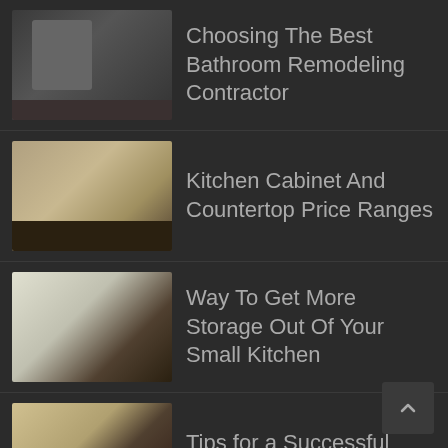Choosing The Best Bathroom Remodeling Contractor
Kitchen Cabinet And Countertop Price Ranges
Way To Get More Storage Out Of Your Small Kitchen
Tips for a Successful Kitchen Remodel
How Much Does it Cost to Remodel a Kitchen
Reasons To Consider Remodeling Your